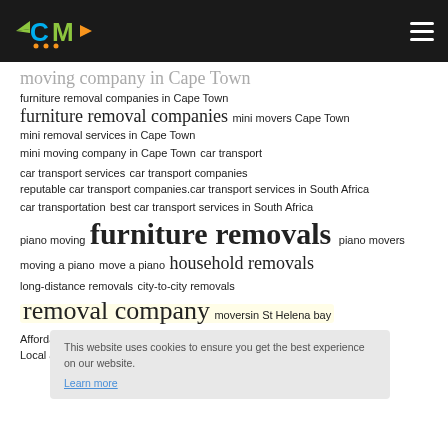CM logo and navigation header
moving company in Cape Town
furniture removal companies in Cape Town
furniture removal companies   mini movers Cape Town
mini removal services in Cape Town
mini moving company in Cape Town   car transport
car transport services   car transport companies
reputable car transport companies.car transport services in South Africa
car transportation   best car transport services in South Africa
piano moving   furniture removals   piano movers
moving a piano   move a piano   household removals
long-distance removals   city-to-city removals
removal company   moversin St Helena bay
Affordable furniture Removals   moving Service
Local and long distance movers   Moving to St Helena Bay   Relocation